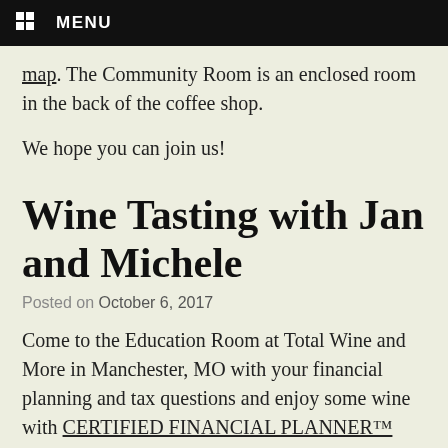MENU
map. The Community Room is an enclosed room in the back of the coffee shop.
We hope you can join us!
Wine Tasting with Jan and Michele
Posted on October 6, 2017
Come to the Education Room at Total Wine and More in Manchester, MO with your financial planning and tax questions and enjoy some wine with CERTIFIED FINANCIAL PLANNER™